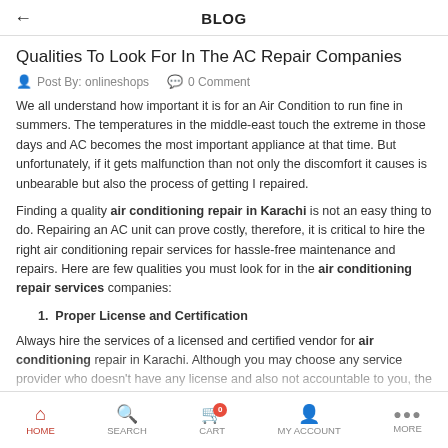BLOG
Qualities To Look For In The AC Repair Companies
Post By: onlineshops   0 Comment
We all understand how important it is for an Air Condition to run fine in summers. The temperatures in the middle-east touch the extreme in those days and AC becomes the most important appliance at that time. But unfortunately, if it gets malfunction than not only the discomfort it causes is unbearable but also the process of getting I repaired.
Finding a quality air conditioning repair in Karachi is not an easy thing to do. Repairing an AC unit can prove costly, therefore, it is critical to hire the right air conditioning repair services for hassle-free maintenance and repairs. Here are few qualities you must look for in the air conditioning repair services companies:
1. Proper License and Certification
Always hire the services of a licensed and certified vendor for air conditioning repair in Karachi. Although you may choose any service provider who doesn't have any license and also not accountable for you, the just to get the service...
HOME   SEARCH   CART   MY ACCOUNT   MORE